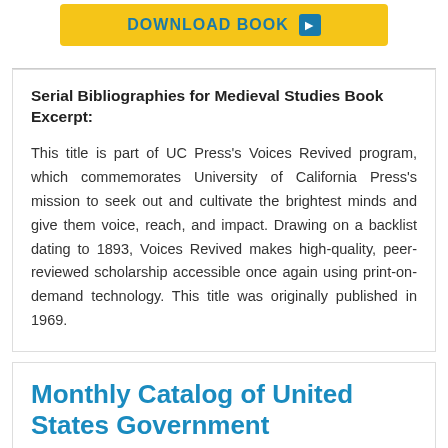[Figure (other): Yellow download book button with blue play arrow icon]
Serial Bibliographies for Medieval Studies Book Excerpt:
This title is part of UC Press's Voices Revived program, which commemorates University of California Press's mission to seek out and cultivate the brightest minds and give them voice, reach, and impact. Drawing on a backlist dating to 1893, Voices Revived makes high-quality, peer-reviewed scholarship accessible once again using print-on-demand technology. This title was originally published in 1969.
Monthly Catalog of United States Government